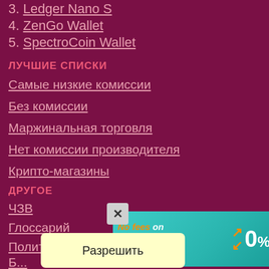3. Ledger Nano S
4. ZenGo Wallet
5. SpectroCoin Wallet
ЛУЧШИЕ СПИСКИ
Самые низкие комиссии
Без комиссии
Маржинальная торговля
Нет комиссии производителя
Крипто-магазины
ДРУГОЕ
ЧЗВ
Глоссарий
Политика
Б...
К...
[Figure (infographic): Advertisement banner: teal/green background with text 'No fees on crypto trades' and '0%' with orange arrows icon and Install Now button. Also a consent dialog 'Разрешить' on yellow background.]